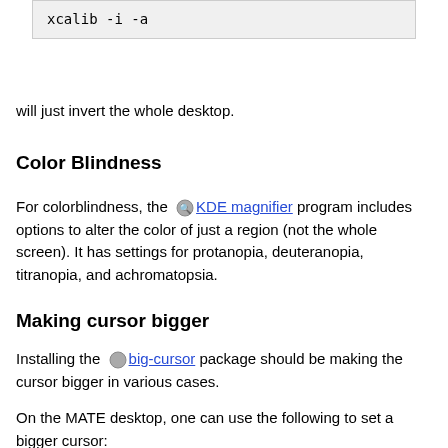xcalib -i -a
will just invert the whole desktop.
Color Blindness
For colorblindness, the KDE magnifier program includes options to alter the color of just a region (not the whole screen). It has settings for protanopia, deuteranopia, titranopia, and achromatopsia.
Making cursor bigger
Installing the big-cursor package should be making the cursor bigger in various cases.
On the MATE desktop, one can use the following to set a bigger cursor: